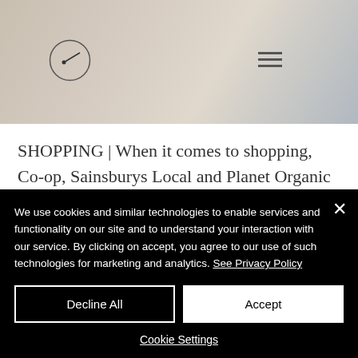[Figure (screenshot): Website header with logo circle (SVG icon with dot and line inside circle) on left, hamburger menu icon on right, over a photo background showing a person holding a paper bag]
SHOPPING | When it comes to shopping, Co-op, Sainsburys Local and Planet Organic are a short walk away
We use cookies and similar technologies to enable services and functionality on our site and to understand your interaction with our service. By clicking on accept, you agree to our use of such technologies for marketing and analytics. See Privacy Policy
Decline All
Accept
Cookie Settings